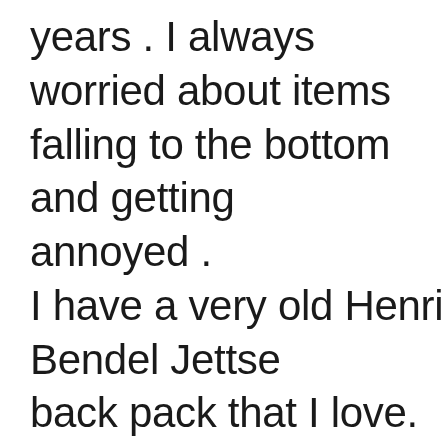years . I always worried about items falling to the bottom and getting annoyed . I have a very old Henri Bendel Jettse back pack that I love. It's very ratty and as they've gone out of business hope of re purchasing . I found som on eBay but at very inflated prices. nylon with structure and more of a square shape with easy entry so no